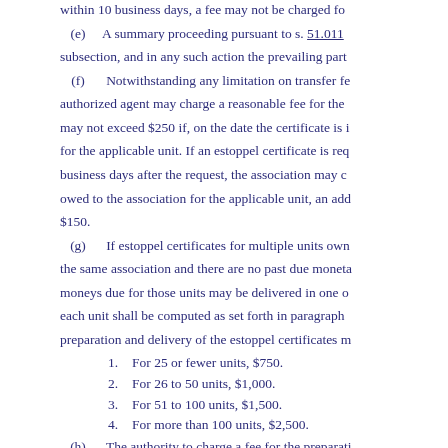within 10 business days, a fee may not be charged fo
(e)   A summary proceeding pursuant to s. 51.011 subsection, and in any such action the prevailing part
(f)   Notwithstanding any limitation on transfer fee, authorized agent may charge a reasonable fee for the may not exceed $250 if, on the date the certificate is i for the applicable unit. If an estoppel certificate is req business days after the request, the association may c owed to the association for the applicable unit, an add $150.
(g)   If estoppel certificates for multiple units own the same association and there are no past due moneta moneys due for those units may be delivered in one o each unit shall be computed as set forth in paragraph preparation and delivery of the estoppel certificates m
1.   For 25 or fewer units, $750.
2.   For 26 to 50 units, $1,000.
3.   For 51 to 100 units, $1,500.
4.   For more than 100 units, $2,500.
(h)   The authority to charge a fee for the preparati established by a written resolution adopted by the boa maintenance contract and is payable upon the prepara conjunction with the sale or mortgage of a parcel but